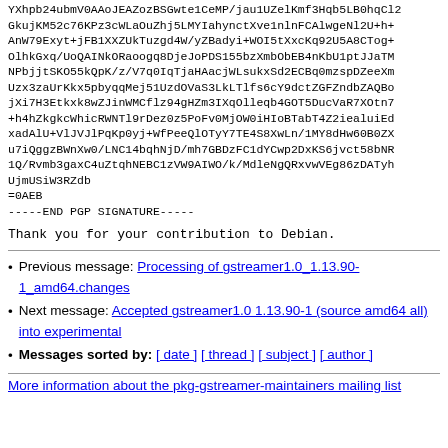YXhpb24ubmV0AAoJEAZozBSGwte1CeMP/jau1UZelKmf3Hqb5LB0hqCl2
GkujKM52c76KPz3cWLaOuZhj5LMYIahynctXve1nlnFCAlwgeNl2U+h+
AnW79Exyt+jFB1XXZUkTuzgd4W/yZBadyi+WOI5tXxcKq92U5A8CTog+
OlhkGxq/UoQAINkORaoogq8DjeJoPDS155bzXmbObEB4nKbU1ptJJaTM
NPbjjtSKO55kQpK/z/V7q0IqTjaHAacjWLsukxSd2ECBq0mzspDZeeXm
Uzx3zaUrKkx5pbyqqMej51UzdOVaS3LkLTlfs6cY9dctZGFZndbZAQBo
jXi7H3Etkxk8wZJinWMCflz94gHZm3IXqOlleqb4GOT5DucVaR7XOtn7
+h4hZkgkcWhicRWNTl9rDez0z5PoFv0MjOW0iHIoBTabT4Z2iealuiEd
xadAlU+VlJVJlPqKp0yj+WfPeeQlOTyY7TE4S8XwLn/1MY8dHw60B0ZX
u7iQggzBWnXw0/LNC14bqhNjD/mh7GBDzFC1dYCwp2DxKS6jvct58bNR
1Q/Rvmb3gaxC4uZtqhNEBC1zVW9AIWO/k/MdleNgQRxvwVEg86zDATyh
UjmUSiW3RZdb
=0AEB
-----END PGP SIGNATURE-----
Thank you for your contribution to Debian.
Previous message: Processing of gstreamer1.0_1.13.90-1_amd64.changes
Next message: Accepted gstreamer1.0 1.13.90-1 (source amd64 all) into experimental
Messages sorted by: [ date ] [ thread ] [ subject ] [ author ]
More information about the pkg-gstreamer-maintainers mailing list